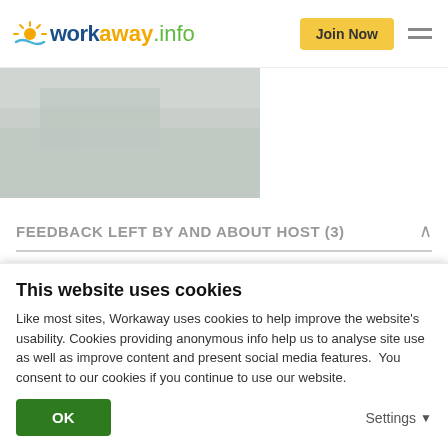workaway.info — Join Now
[Figure (photo): A partial outdoor/snow landscape photo, cropped, showing a grayish-white textured surface.]
FEEDBACK LEFT BY AND ABOUT HOST (3)
28/07/2019
Left by Workakayer (Costin) for host
I staved at the farm with Cristina, her friendly family for an
This website uses cookies
Like most sites, Workaway uses cookies to help improve the website's usability. Cookies providing anonymous info help us to analyse site use as well as improve content and present social media features.  You consent to our cookies if you continue to use our website.
OK
Settings